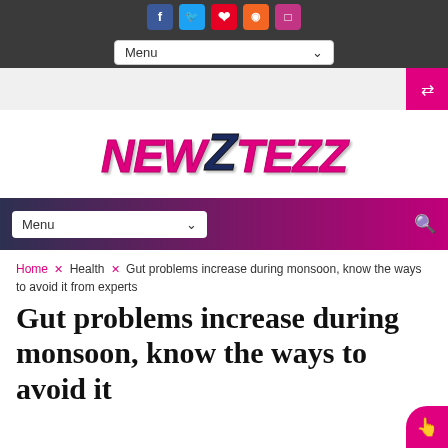NewZTezz website header with social icons (Facebook, Twitter, Pinterest, RSS, Instagram), Menu dropdown, and navigation bar with gradient background
[Figure (logo): NewZTezz logo in bold italic pink and dark blue lettering]
Home × Health × Gut problems increase during monsoon, know the ways to avoid it from experts
Gut problems increase during monsoon, know the ways to avoid it